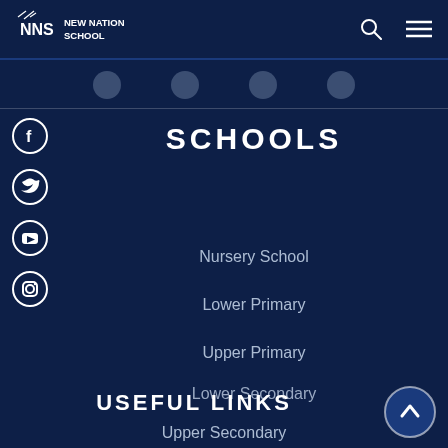NNS NEW NATION SCHOOL
[Figure (screenshot): New Nation School website navigation bar with logo, search icon, and hamburger menu icon on dark navy background]
[Figure (other): Four social media icon circles (partially visible) in a horizontal strip with grey circles]
[Figure (other): Left sidebar with four social media icons: Facebook, Twitter, YouTube, Instagram as white circles]
SCHOOLS
Nursery School
Lower Primary
Upper Primary
Lower Secondary
USEFUL LINKS
Upper Secondary